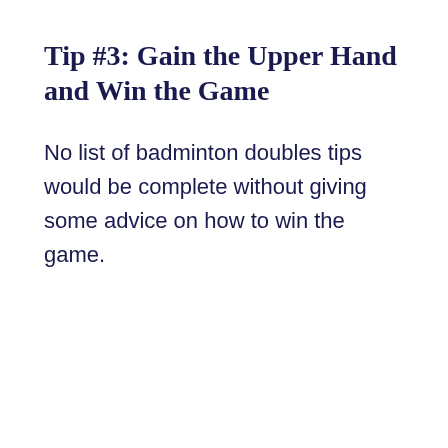Tip #3: Gain the Upper Hand and Win the Game
No list of badminton doubles tips would be complete without giving some advice on how to win the game.